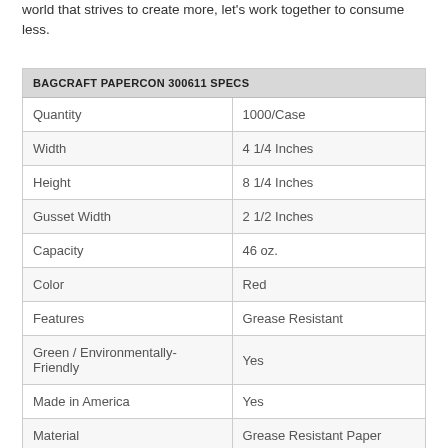world that strives to create more, let's work together to consume less.
| BAGCRAFT PAPERCON 300611 SPECS |  |
| --- | --- |
| Quantity | 1000/Case |
| Width | 4 1/4 Inches |
| Height | 8 1/4 Inches |
| Gusset Width | 2 1/2 Inches |
| Capacity | 46 oz. |
| Color | Red |
| Features | Grease Resistant |
| Green / Environmentally-Friendly | Yes |
| Made in America | Yes |
| Material | Grease Resistant Paper |
| Pattern | EcoCraft |
| Style | Printed |